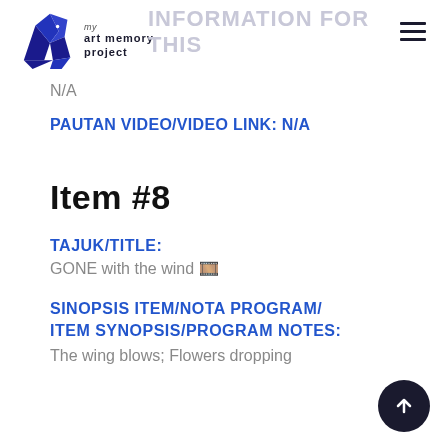my art memory project
INFORMATION FOR THIS
N/A
PAUTAN VIDEO/VIDEO LINK: N/A
Item #8
TAJUK/TITLE:
GONE with the wind 🎞️
SINOPSIS ITEM/NOTA PROGRAM/ ITEM SYNOPSIS/PROGRAM NOTES:
The wing blows; Flowers dropping